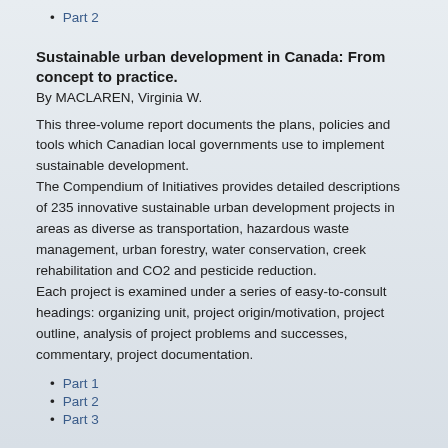Part 2
Sustainable urban development in Canada: From concept to practice.
By MACLAREN, Virginia W.
This three-volume report documents the plans, policies and tools which Canadian local governments use to implement sustainable development.
The Compendium of Initiatives provides detailed descriptions of 235 innovative sustainable urban development projects in areas as diverse as transportation, hazardous waste management, urban forestry, water conservation, creek rehabilitation and CO2 and pesticide reduction.
Each project is examined under a series of easy-to-consult headings: organizing unit, project origin/motivation, project outline, analysis of project problems and successes, commentary, project documentation.
Part 1
Part 2
Part 3